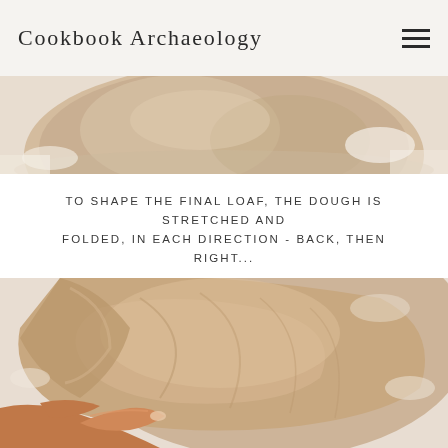Cookbook Archaeology
[Figure (photo): Close-up photograph of bread dough resting in a bowl, viewed from above, showing a round pale dough mass on a floured surface.]
TO SHAPE THE FINAL LOAF, THE DOUGH IS STRETCHED AND FOLDED, IN EACH DIRECTION - BACK, THEN RIGHT...
[Figure (photo): Close-up photograph of hands shaping bread dough, stretching and folding it. The dough is pale beige-tan and partially dusted with flour on a light surface.]